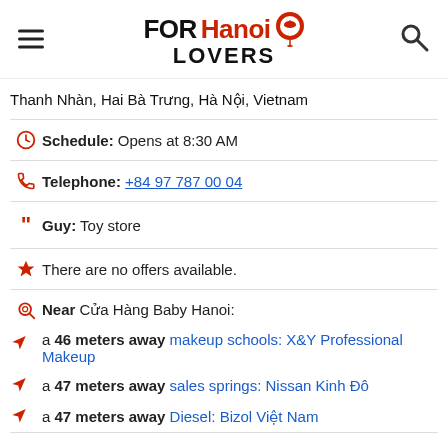FOR Hanoi LOVERS
Thanh Nhàn, Hai Bà Trưng, Hà Nội, Vietnam
Schedule: Opens at 8:30 AM
Telephone: +84 97 787 00 04
Guy: Toy store
There are no offers available.
Near Cửa Hàng Baby Hanoi:
a 46 meters away makeup schools: X&Y Professional Makeup
a 47 meters away sales springs: Nissan Kinh Đô
a 47 meters away Diesel: Bizol Việt Nam
Are you the owner of the business? PROMOTE IT!